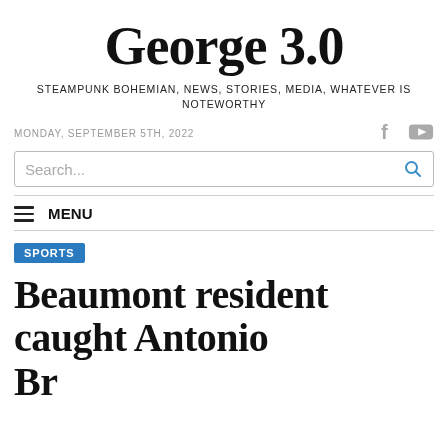George 3.0
STEAMPUNK BOHEMIAN, NEWS, STORIES, MEDIA, WHATEVER IS NOTEWORTHY
MONDAY, SEPTEMBER 5TH, 2022
SPORTS
Beaumont resident caught Antonio Brown's